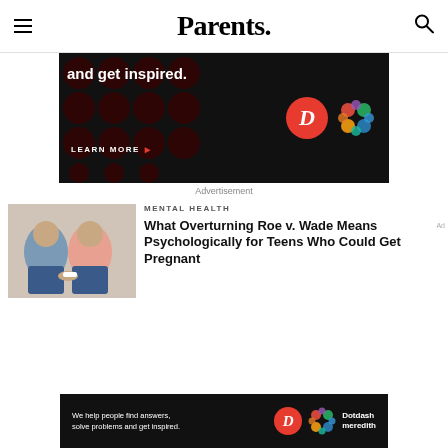Parents.
[Figure (infographic): Advertisement banner with dark background, dots pattern, text 'and get inspired.' with LEARN MORE button, and Dotdash Meredith logos]
Advertisement
[Figure (photo): Two people sitting side by side, one holding a pregnancy test]
MENTAL HEALTH
What Overturning Roe v. Wade Means Psychologically for Teens Who Could Get Pregnant
[Figure (infographic): Bottom advertisement bar: 'We help people find answers, solve problems and get inspired.' with Dotdash Meredith logo]